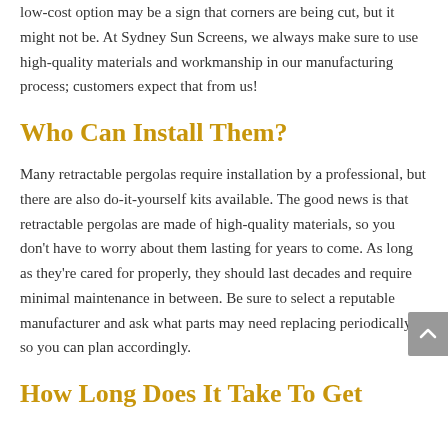low-cost option may be a sign that corners are being cut, but it might not be. At Sydney Sun Screens, we always make sure to use high-quality materials and workmanship in our manufacturing process; customers expect that from us!
Who Can Install Them?
Many retractable pergolas require installation by a professional, but there are also do-it-yourself kits available. The good news is that retractable pergolas are made of high-quality materials, so you don't have to worry about them lasting for years to come. As long as they're cared for properly, they should last decades and require minimal maintenance in between. Be sure to select a reputable manufacturer and ask what parts may need replacing periodically so you can plan accordingly.
How Long Does It Take To Get